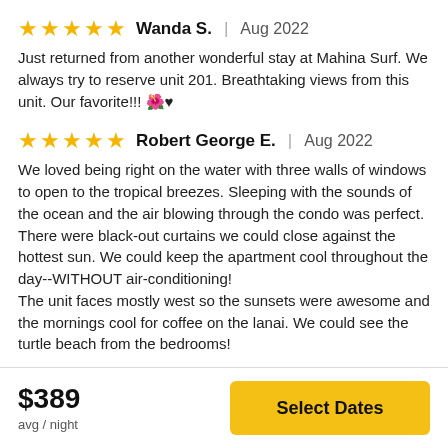★★★★★  Wanda S.  |  Aug 2022
Just returned from another wonderful stay at Mahina Surf. We always try to reserve unit 201. Breathtaking views from this unit. Our favorite!!! 🌺♥
★★★★★  Robert George E.  |  Aug 2022
We loved being right on the water with three walls of windows to open to the tropical breezes. Sleeping with the sounds of the ocean and the air blowing through the condo was perfect. There were black-out curtains we could close against the hottest sun. We could keep the apartment cool throughout the day--WITHOUT air-conditioning! The unit faces mostly west so the sunsets were awesome and the mornings cool for coffee on the lanai. We could see the turtle beach from the bedrooms!
$389
avg / night
Select Dates